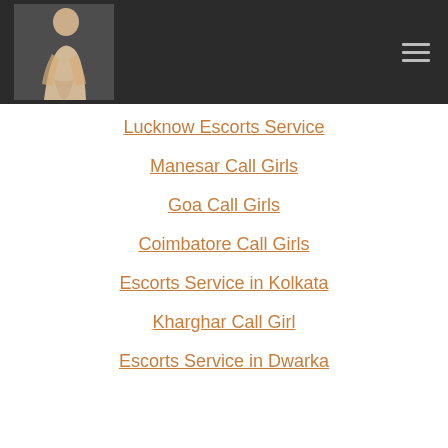[Figure (photo): Logo/header image of a woman posing in white outfit on dark background]
Lucknow Escorts Service
Manesar Call Girls
Goa Call Girls
Coimbatore Call Girls
Escorts Service in Kolkata
Kharghar Call Girl
Escorts Service in Dwarka